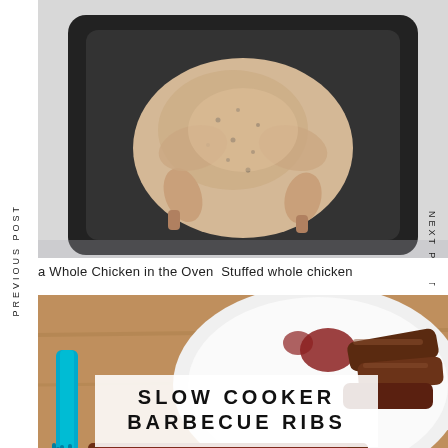[Figure (photo): A raw whole chicken seasoned with pepper sitting in a black roasting pan, photographed from above on a light background.]
PREVIOUS POST
NEXT POST
a Whole Chicken in the Oven Stuffed whole chicken
[Figure (photo): Slow cooker barbecue ribs on a white plate with barbecue sauce, a teal basting brush visible on the left side, ribs in the foreground.]
SLOW COOKER BARBECUE RIBS